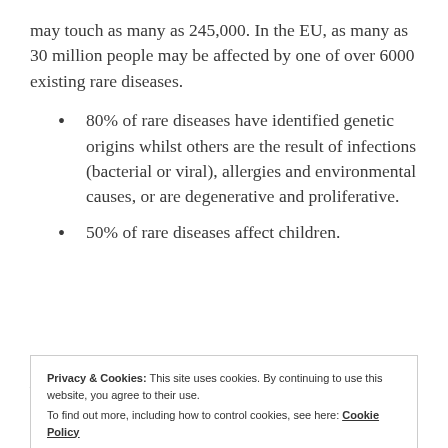may touch as many as 245,000. In the EU, as many as 30 million people may be affected by one of over 6000 existing rare diseases.
80% of rare diseases have identified genetic origins whilst others are the result of infections (bacterial or viral), allergies and environmental causes, or are degenerative and proliferative.
50% of rare diseases affect children.
Key Features
Privacy & Cookies: This site uses cookies. By continuing to use this website, you agree to their use.
To find out more, including how to control cookies, see here: Cookie Policy
patient suffering from the same disease.